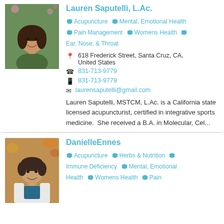[Figure (photo): Headshot photo of Lauren Saputelli, a young woman with long dark hair, smiling, outdoors with pink flowers in background]
Lauren Saputelli, L.Ac.
Acupuncture  Mental, Emotional Health  Pain Management  Womens Health  Ear, Nose, & Throat
618 Frederick Street, Santa Cruz, CA, United States
831-713-9779
831-713-9779
laurensaputelli@gmail.com
Lauren Saputelli, MSTCM, L.Ac. is a California state licensed acupuncturist, certified in integrative sports medicine.  She received a B.A. in Molecular, Cel...
[Figure (photo): Headshot photo of Danielle Hennes, a woman with short dark hair, wearing a white coat, smiling, with autumn foliage in background]
Danielle Hennes
Acupuncture  Herbs & Nutrition  Immune Deficiency  Mental, Emotional Health  Womens Health  Pain